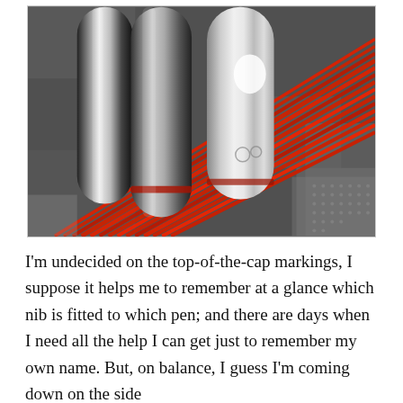[Figure (photo): Close-up photograph of several fountain pen caps (silver/chrome colored) resting on a red braided cord or strap against a dark textured background. The pen caps are metallic and one appears lighter/matte silver with small circular markings on the top.]
I'm undecided on the top-of-the-cap markings, I suppose it helps me to remember at a glance which nib is fitted to which pen; and there are days when I need all the help I can get just to remember my own name. But, on balance, I guess I'm coming down on the side